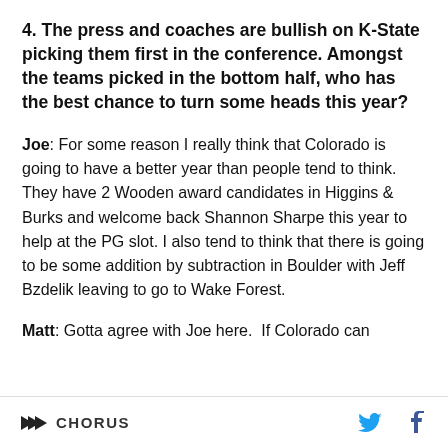4. The press and coaches are bullish on K-State picking them first in the conference. Amongst the teams picked in the bottom half, who has the best chance to turn some heads this year?
Joe: For some reason I really think that Colorado is going to have a better year than people tend to think. They have 2 Wooden award candidates in Higgins & Burks and welcome back Shannon Sharpe this year to help at the PG slot. I also tend to think that there is going to be some addition by subtraction in Boulder with Jeff Bzdelik leaving to go to Wake Forest.
Matt: Gotta agree with Joe here.  If Colorado can
CHORUS